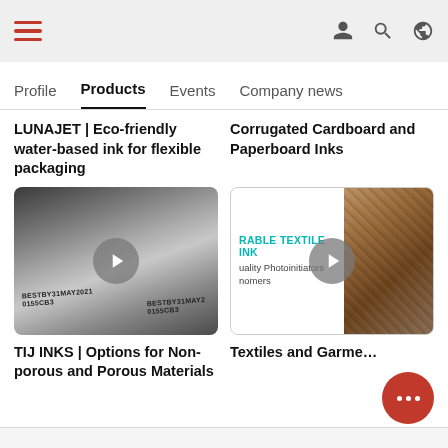Navigation bar with hamburger menu and icons
Profile | Products | Events | Company news
LUNAJET | Eco-friendly water-based ink for flexible packaging
Corrugated Cardboard and Paperboard Inks
[Figure (photo): Video thumbnail showing aluminum cans with printed date codes: BESTBY31MAY2021 0155CB3]
[Figure (photo): Video thumbnail showing textile ink product page with text: RABLE TEXTILE INK, uality Photoinitiators, nomers, and folded fabric]
TIJ INKS | Options for Non-porous and Porous Materials
Textiles and Garme...